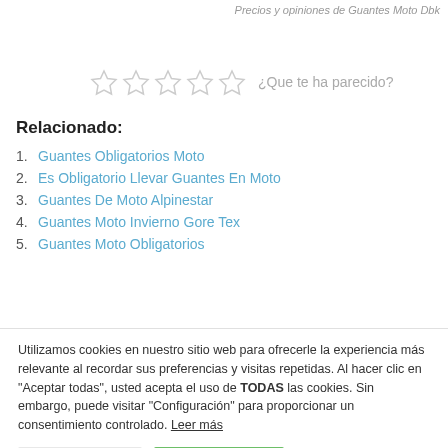Precios y opiniones de Guantes Moto Dbk
[Figure (other): Five empty star rating icons with text '¿Que te ha parecido?']
Relacionado:
1. Guantes Obligatorios Moto
2. Es Obligatorio Llevar Guantes En Moto
3. Guantes De Moto Alpinestar
4. Guantes Moto Invierno Gore Tex
5. Guantes Moto Obligatorios
Utilizamos cookies en nuestro sitio web para ofrecerle la experiencia más relevante al recordar sus preferencias y visitas repetidas. Al hacer clic en "Aceptar todas", usted acepta el uso de TODAS las cookies. Sin embargo, puede visitar "Configuración" para proporcionar un consentimiento controlado. Leer más
Configuración | Aceptar todo